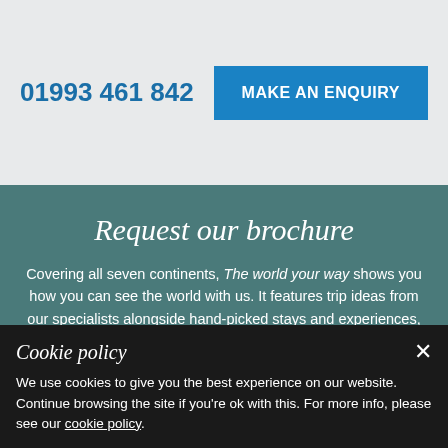01993 461 842
MAKE AN ENQUIRY
Request our brochure
Covering all seven continents, The world your way shows you how you can see the world with us. It features trip ideas from our specialists alongside hand-picked stays and experiences, and introduces our approach to creating meaningful travel experiences.
REQUEST A BROCHURE
Cookie policy
We use cookies to give you the best experience on our website. Continue browsing the site if you're ok with this. For more info, please see our cookie policy.